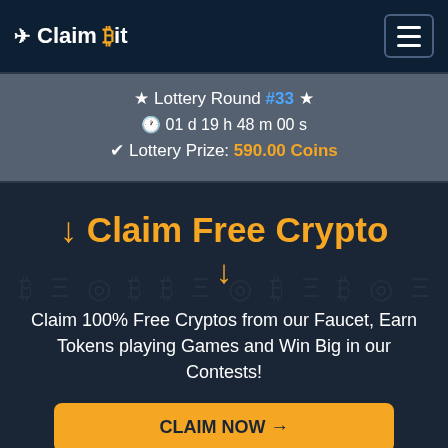✈ Claim Bit
★ Lottery Round #33 ★
⏱ 01 d 19 h 48 m 00 s
✔ Lottery Prize: 590.00 Coins
↓ Claim Free Crypto ↓
Claim 100% Free Cryptos from our Faucet, Earn Tokens playing Games and Win Big in our Contests!
CLAIM NOW →